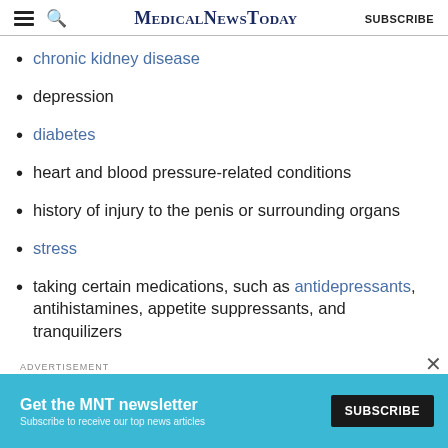MedicalNewsToday SUBSCRIBE
chronic kidney disease
depression
diabetes
heart and blood pressure-related conditions
history of injury to the penis or surrounding organs
stress
taking certain medications, such as antidepressants, antihistamines, appetite suppressants, and tranquilizers
[Figure (infographic): Advertisement banner for MNT newsletter. Teal background with text 'Get the MNT newsletter' and 'Subscribe to receive our top news articles' with a black SUBSCRIBE button.]